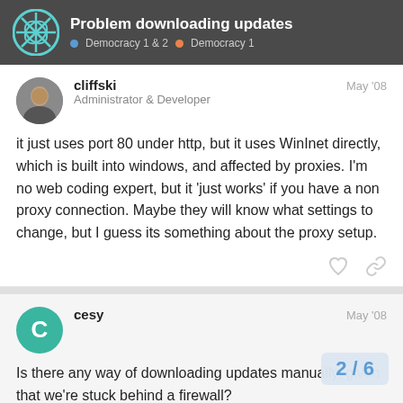Problem downloading updates | Democracy 1 & 2 | Democracy 1
cliffski
Administrator & Developer
May '08
it just uses port 80 under http, but it uses WinInet directly, which is built into windows, and affected by proxies. I'm no web coding expert, but it 'just works' if you have a non proxy connection. Maybe they will know what settings to change, but I guess its something about the proxy setup.
cesy
May '08
Is there any way of downloading updates manually, given that we're stuck behind a firewall?
Also, at some point, it might be worth ma…
say something clearer, like "Error. Demo…
[text continues below]
2 / 6